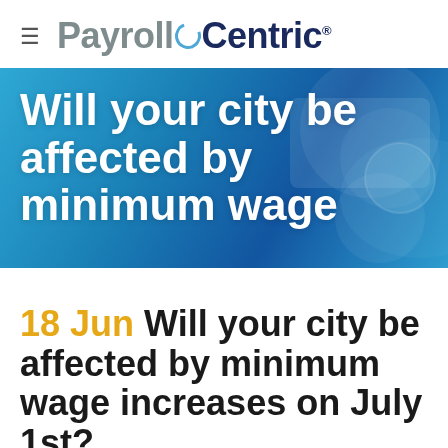PayrollCentric®
[Figure (photo): Blue banner background with article title text overlay: 'Will your city be affected by minimum wage']
18 Jun Will your city be affected by minimum wage increases on July 1st?